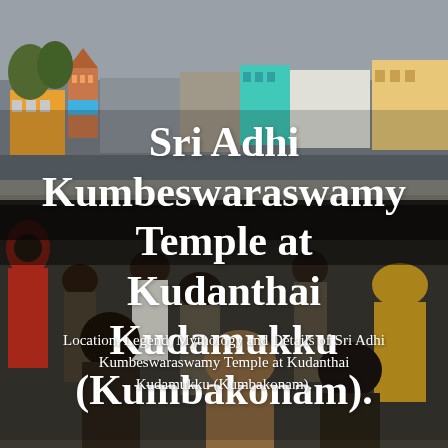[Figure (photo): Crowded outdoor scene at Kumbakonam, India, showing a large gathered crowd near a water tank or river ghat, with colorful buildings and temple gopurams in the background under a grey sky.]
Sri Adhi Kumbeswaraswamy Temple at Kudanthai Kudamukku (Kumbakonam).
Location, Legend, Mythology and Details of Sri Adhi Kumbeswaraswamy Temple at Kudanthai Kudamukku (Kumbakonam).